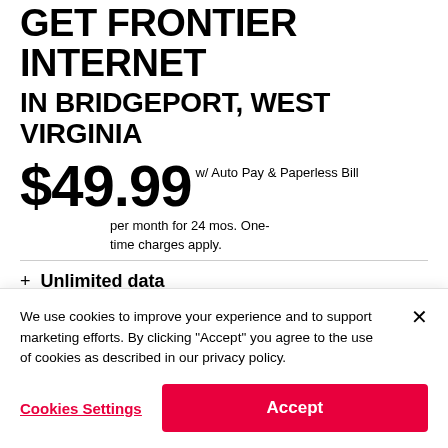GET FRONTIER INTERNET
IN BRIDGEPORT, WEST VIRGINIA
$49.99 w/ Auto Pay & Paperless Bill per month for 24 mos. One-time charges apply.
+ Unlimited data
We use cookies to improve your experience and to support marketing efforts. By clicking "Accept" you agree to the use of cookies as described in our privacy policy.
Cookies Settings
Accept